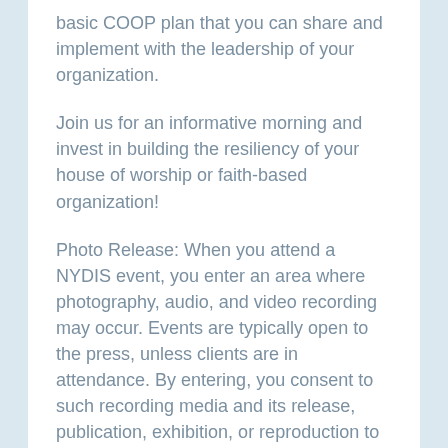basic COOP plan that you can share and implement with the leadership of your organization.
Join us for an informative morning and invest in building the resiliency of your house of worship or faith-based organization!
Photo Release: When you attend a NYDIS event, you enter an area where photography, audio, and video recording may occur. Events are typically open to the press, unless clients are in attendance. By entering, you consent to such recording media and its release, publication, exhibition, or reproduction to be used for news, webcasts, social media or other promotional outlets.